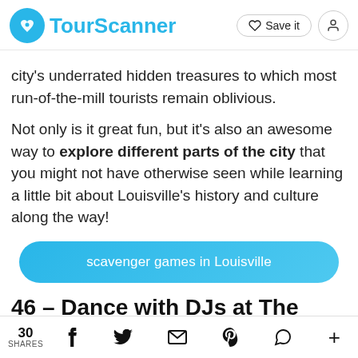TourScanner — Save it
city's underrated hidden treasures to which most run-of-the-mill tourists remain oblivious.
Not only is it great fun, but it's also an awesome way to explore different parts of the city that you might not have otherwise seen while learning a little bit about Louisville's history and culture along the way!
scavenger games in Louisville
46 – Dance with DJs at The
30 SHARES  f  twitter  mail  pinterest  whatsapp  +